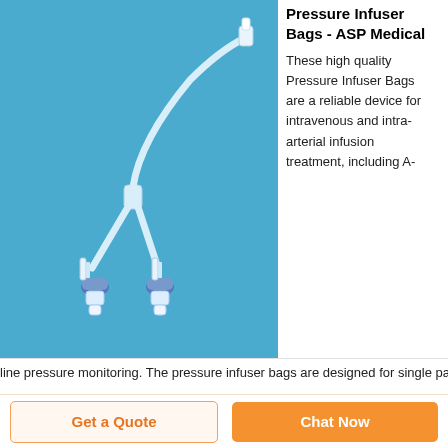[Figure (photo): Medical pressure infuser bag tubing set with Y-connector and two Luer-lock connectors with blue caps, photographed on a blue background.]
Pressure Infuser Bags - ASP Medical
These high quality Pressure Infuser Bags are a reliable device for intravenous and intra-arterial infusion treatment, including A-line pressure monitoring. The pressure infuser bags are designed for single patient use
Get a Quote
Chat Now